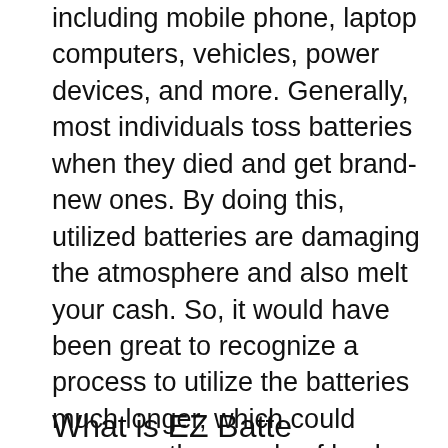including mobile phone, laptop computers, vehicles, power devices, and more. Generally, most individuals toss batteries when they died and get brand-new ones. By doing this, utilized batteries are damaging the atmosphere and also melt your cash. So, it would have been great to recognize a process to utilize the batteries much longer, which could conserve thousands of bucks every year. You can save your money in the EZ Battery Reconditioning course, which can assist you utilize your batteries for a longer time. Let's dive into the information via this EZ Battery Reconditioning testimonial.
What is EZ Batte...